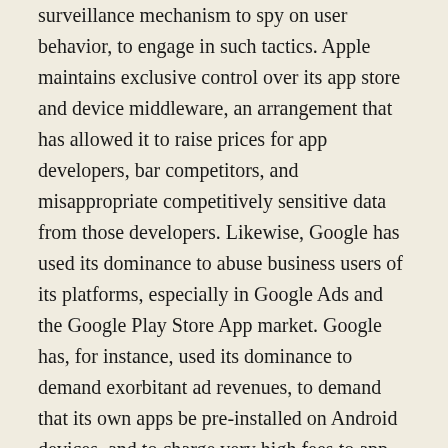surveillance mechanism to spy on user behavior, to engage in such tactics. Apple maintains exclusive control over its app store and device middleware, an arrangement that has allowed it to raise prices for app developers, bar competitors, and misappropriate competitively sensitive data from those developers. Likewise, Google has used its dominance to abuse business users of its platforms, especially in Google Ads and the Google Play Store App market. Google has, for instance, used its dominance to demand exorbitant ad revenues, to demand that its own apps be pre-installed on Android devices, and to charge very high fees to app developers in its Google Play Store.
An existing dominant firm owning and operating a proprietary payment network offers ample opportunity for extracting additional revenue from users or third